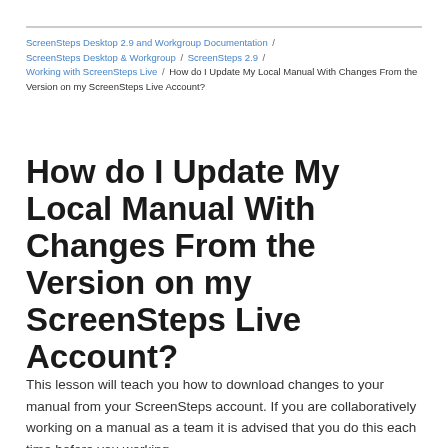ScreenSteps Desktop 2.9 and Workgroup Documentation / ScreenSteps Desktop & Workgroup / ScreenSteps 2.9 / Working with ScreenSteps Live / How do I Update My Local Manual With Changes From the Version on my ScreenSteps Live Account?
How do I Update My Local Manual With Changes From the Version on my ScreenSteps Live Account?
This lesson will teach you how to download changes to your manual from your ScreenSteps account. If you are collaboratively working on a manual as a team it is advised that you do this each time before you working